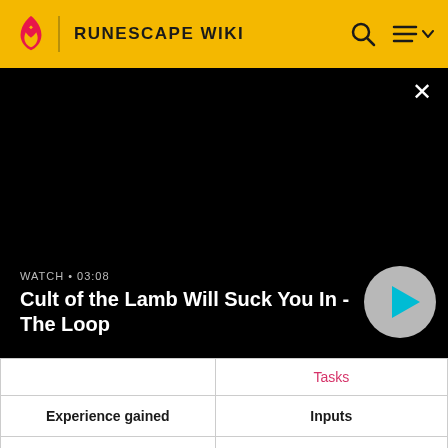RUNESCAPE WIKI
[Figure (screenshot): Black video player area showing a paused/unloaded video with a close (×) button in the top right, video title 'Cult of the Lamb Will Suck You In - The Loop', watch time '03:08', and a circular play button on the right.]
|  | Tasks |
| --- | --- |
| Experience gained | Inputs |
| None | 50-150 x Soda ash
(450-1,350) |
|  |  |